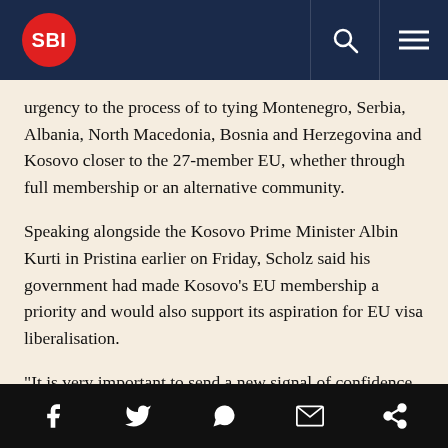SBI [logo] [search icon] [menu icon]
urgency to the process of to tying Montenegro, Serbia, Albania, North Macedonia, Bosnia and Herzegovina and Kosovo closer to the 27-member EU, whether through full membership or an alternative community.
Speaking alongside the Kosovo Prime Minister Albin Kurti in Pristina earlier on Friday, Scholz said his government had made Kosovo's EU membership a priority and would also support its aspiration for EU visa liberalisation.
“It is very important to send a new signal of confidence and hope that this accession process is wanted by the EU with great seriousness, and that it also has a realistic chance if everyone makes an effort,” Scholz said.
Ukraine and neighbouring Moldova have pushed to [EU] membership since the
[Facebook] [Twitter] [WhatsApp] [Mail] [Share]